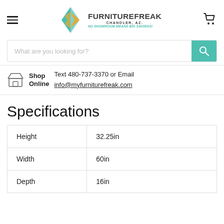[Figure (logo): Furniture Freak logo with teal and gold diamond/arrow icon, brand name 'FURNITURE FREAK', location 'CHANDLER, AZ.', tagline 'NO SHOWROOM MEANS BIG SAVINGS!']
What are you looking for?
Shop Online  Text 480-737-3370 or Email info@myfurniturefreak.com
Specifications
| Height | 32.25in |
| Width | 60in |
| Depth | 16in |